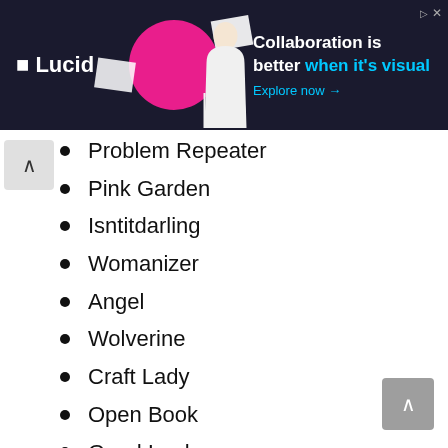[Figure (other): Lucid advertisement banner: dark navy background, Lucid logo on left, person with pink circle graphic in center, text 'Collaboration is better when it's visual' with 'Explore now →' link on right]
Problem Repeater
Pink Garden
Isntitdarling
Womanizer
Angel
Wolverine
Craft Lady
Open Book
Good Looks
Awesome Pie
Cheeky Girl
Firehawk729
Wolf And Moon
Secretagent
Lackofcolouraus